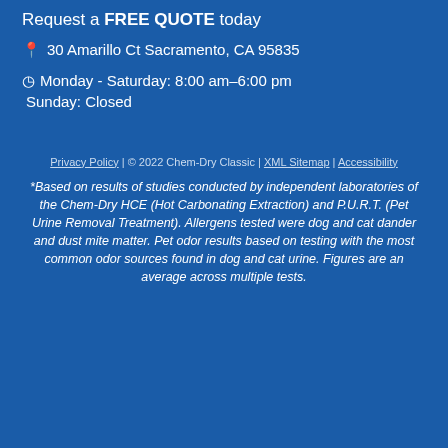Request a FREE QUOTE today
30 Amarillo Ct Sacramento, CA 95835
Monday - Saturday: 8:00 am–6:00 pm
Sunday: Closed
Privacy Policy | © 2022 Chem-Dry Classic | XML Sitemap | Accessibility
*Based on results of studies conducted by independent laboratories of the Chem-Dry HCE (Hot Carbonating Extraction) and P.U.R.T. (Pet Urine Removal Treatment). Allergens tested were dog and cat dander and dust mite matter. Pet odor results based on testing with the most common odor sources found in dog and cat urine. Figures are an average across multiple tests.